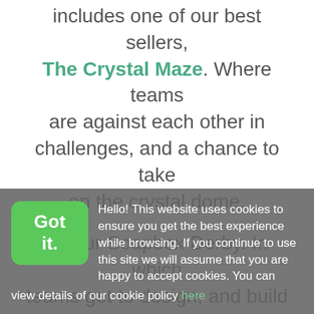includes one of our best sellers, The Crystal Maze. Where teams are against each other in challenges, and a chance to take on the crystal dome.
Or our Soapbox Derby. In which teams get to design, and build their very own soapbox car. Ready to race around a track.
Our Event management services...
Hello! This website uses cookies to ensure you get the best experience while browsing. If you continue to use this site we will assume that you are happy to accept cookies. You can view details of our cookie policy here